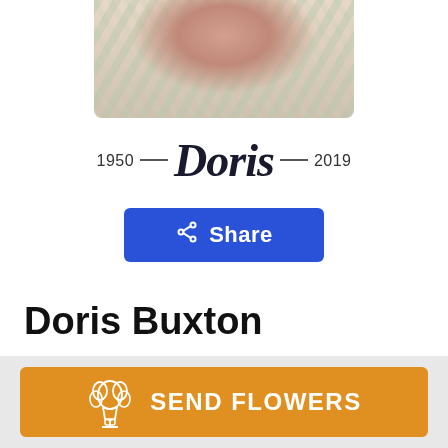[Figure (photo): Partial portrait photo of Doris Buxton, showing floral patterned clothing, cropped at the top of the page]
1950 — Doris — 2019
[Figure (other): Blue Share button with share icon]
Doris Buxton
August 9, 1950 — April 22, 2019
[Figure (other): Orange SEND FLOWERS button with flower bouquet icon]